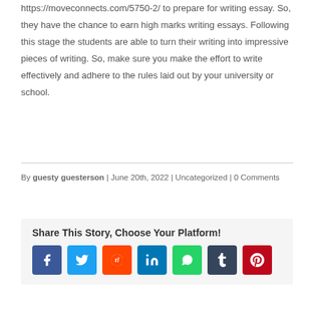https://moveconnects.com/5750-2/ to prepare for writing essay. So, they have the chance to earn high marks writing essays. Following this stage the students are able to turn their writing into impressive pieces of writing. So, make sure you make the effort to write effectively and adhere to the rules laid out by your university or school.
By guesty guesterson | June 20th, 2022 | Uncategorized | 0 Comments
Share This Story, Choose Your Platform!
[Figure (infographic): Social media sharing buttons: Facebook (blue), Twitter (light blue), Reddit (orange), LinkedIn (dark blue), WhatsApp (green), Tumblr (dark blue-grey), Pinterest (red)]